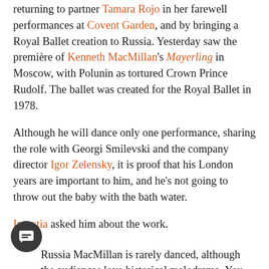returning to partner Tamara Rojo in her farewell performances at Covent Garden, and by bringing a Royal Ballet creation to Russia. Yesterday saw the première of Kenneth MacMillan's Mayerling in Moscow, with Polunin as tortured Crown Prince Rudolf. The ballet was created for the Royal Ballet in 1978.
Although he will dance only one performance, sharing the role with Georgi Smilevski and the company director Igor Zelensky, it is proof that his London years are important to him, and he's not going to throw out the baby with the bath water.
Izvestia asked him about the work.
1
In Russia MacMillan is rarely danced, although the audiences love historical melodrama. You seem to